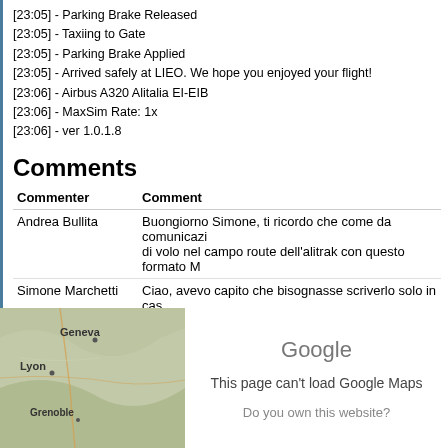[23:05] - Parking Brake Released
[23:05] - Taxiing to Gate
[23:05] - Parking Brake Applied
[23:05] - Arrived safely at LIEO. We hope you enjoyed your flight!
[23:06] - Airbus A320 Alitalia EI-EIB
[23:06] - MaxSim Rate: 1x
[23:06] - ver 1.0.1.8
Comments
| Commenter | Comment |
| --- | --- |
| Andrea Bullita | Buongiorno Simone, ti ricordo che come da comunicazi… di volo nel campo route dell'alitrak con questo formato M… |
| Simone Marchetti | Ciao, avevo capito che bisognasse scriverlo solo in cas… mancherò di farlo. Grazie |
Route Map
[Figure (map): Partial satellite/terrain map showing Geneva, Lyon, and Grenoble regions, with a Google Maps error overlay: 'This page can't load Google Maps' and 'Do you own this website?']